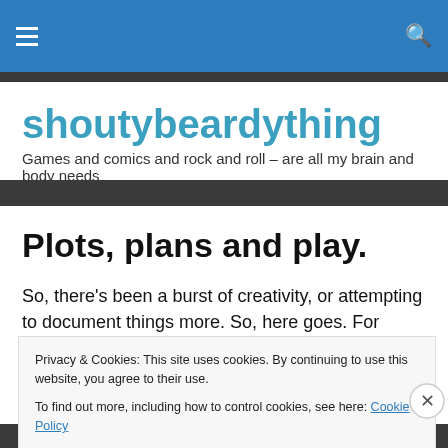shoutybeardything – navigation bar
shoutybeardything
Games and comics and rock and roll – are all my brain and body needs
Plots, plans and play.
So, there's been a burst of creativity, or attempting to document things more. So, here goes. For those seeking
Privacy & Cookies: This site uses cookies. By continuing to use this website, you agree to their use. To find out more, including how to control cookies, see here: Cookie Policy
Close and accept